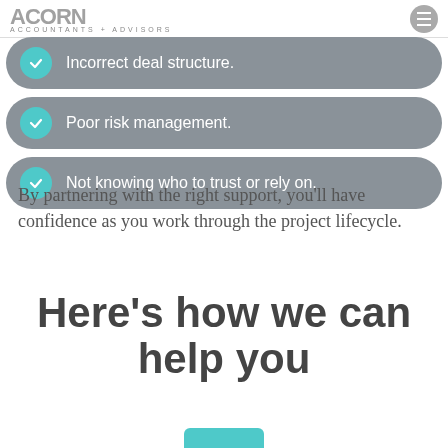ACORN ACCOUNTANTS + ADVISORS
Incorrect deal structure.
Poor risk management.
Not knowing who to trust or rely on.
By partnering with the right support, you'll have confidence as you work through the project lifecycle.
Here's how we can help you